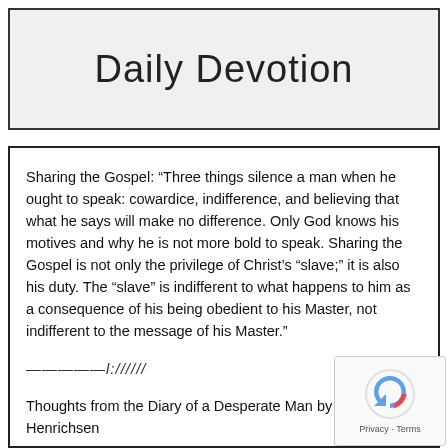Daily Devotion
Sharing the Gospel: “Three things silence a man when he ought to speak: cowardice, indifference, and believing that what he says will make no difference. Only God knows his motives and why he is not more bold to speak. Sharing the Gospel is not only the privilege of Christ’s “slave;” it is also his duty. The “slave” is indifferent to what happens to him as a consequence of his being obedient to his Master, not indifferent to the message of his Master.”
—————l://////
Thoughts from the Diary of a Desperate Man by Walter Henrichsen
Rejoicing in the Plight of Others
Day Twenty-one